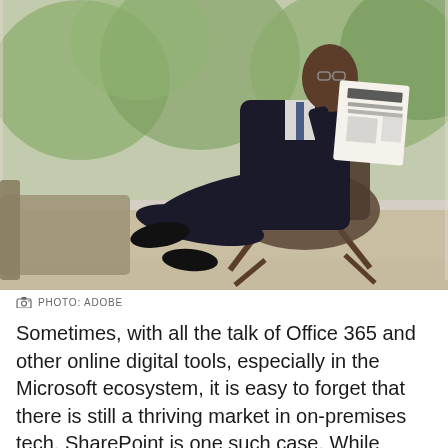[Figure (photo): A man in a dark business suit sitting in a modern chair near a large window, reading a newspaper. The background shows green trees outside through floor-to-ceiling glass windows.]
PHOTO: ADOBE
Sometimes, with all the talk of Office 365 and other online digital tools, especially in the Microsoft ecosystem, it is easy to forget that there is still a thriving market in on-premises tech. SharePoint is one such case. While Microsoft talks up SharePoint Online just about